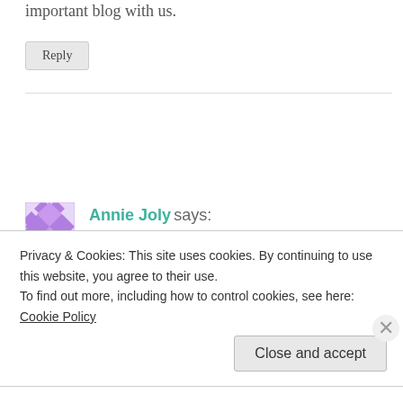important blog with us.
Reply
Annie Joly says:
April 23, 2015 at 1:43 am
Greatll thanks bally for telling us hoe we can practice
Privacy & Cookies: This site uses cookies. By continuing to use this website, you agree to their use. To find out more, including how to control cookies, see here: Cookie Policy
Close and accept